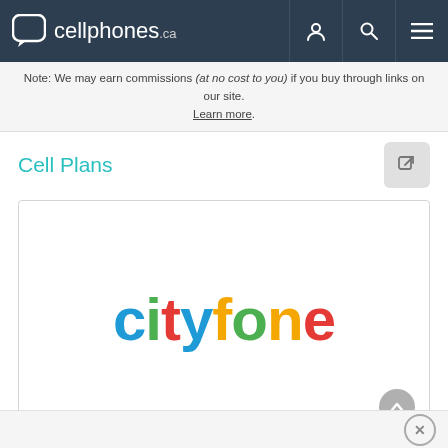cellphones.ca
Note: We may earn commissions (at no cost to you) if you buy through links on our site. Learn more.
Cell Plans
[Figure (logo): Cityfone logo with multicolored letters: c(blue), i(green), t(red), y(blue), f(yellow), o(green), n(orange), e(red)]